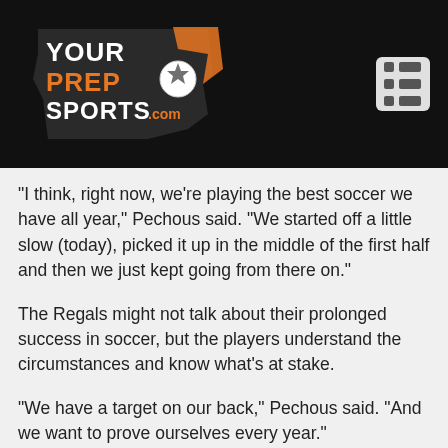[Figure (logo): YourPrepSports.com logo in orange and white on black background, with menu icon in top right]
“I think, right now, we’re playing the best soccer we have all year,” Pechous said. “We started off a little slow (today), picked it up in the middle of the first half and then we just kept going from there on.”
The Regals might not talk about their prolonged success in soccer, but the players understand the circumstances and know what’s at stake.
“We have a target on our back,” Pechous said. “And we want to prove ourselves every year.”
Larew has surrounded himself with former Regina players as assistant coaches. His assistants serve as a constant reminder of the dynasty, but without having to mention it.